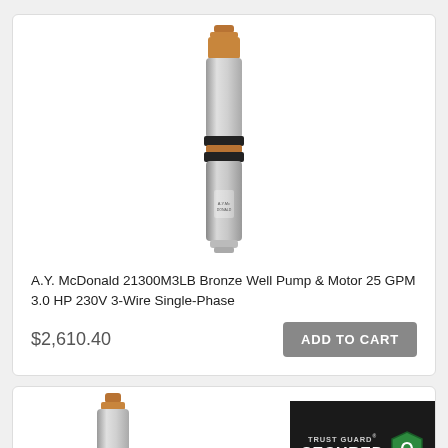[Figure (photo): A.Y. McDonald submersible well pump and motor, cylindrical stainless steel body with copper-colored fittings and black band sections]
A.Y. McDonald 21300M3LB Bronze Well Pump & Motor 25 GPM 3.0 HP 230V 3-Wire Single-Phase
$2,610.40
ADD TO CART
[Figure (photo): Partial view of another A.Y. McDonald submersible well pump, showing copper fitting at top and stainless steel body]
[Figure (other): Trust Guard Secured badge with lock icon and RCWORST.COM URL]